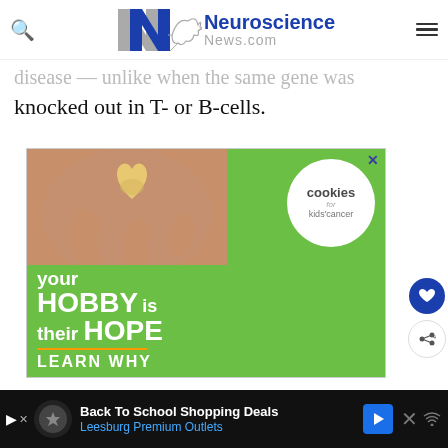Neuroscience News.com
disease — unlike when the same gene was knocked out in T- or B-cells.
[Figure (photo): Advertisement banner: cookies for kids' cancer — 'your HOBBY is their HOPE LEARN WHY' on a green background with a photo of hands holding a heart-shaped cookie]
Back To School Shopping Deals — Leesburg Premium Outlets